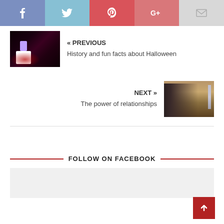[Figure (infographic): Social sharing bar with Facebook (blue-purple), Twitter (light blue), Pinterest (red), Google+ (salmon-red), Email (light gray) buttons showing respective icons]
[Figure (photo): Thumbnail image of a Halloween-decorated house at night with purple ghost figure and red glowing lights, sign reading 'HAPPY HAUNTING']
« PREVIOUS
History and fun facts about Halloween
[Figure (photo): Thumbnail photo of people in the Oval Office with American flags and a large wooden desk]
NEXT »
The power of relationships
FOLLOW ON FACEBOOK